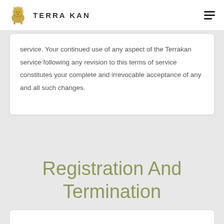TERRAKAN
service. Your continued use of any aspect of the Terrakan service following any revision to this terms of service constitutes your complete and irrevocable acceptance of any and all such changes.
Registration And Termination